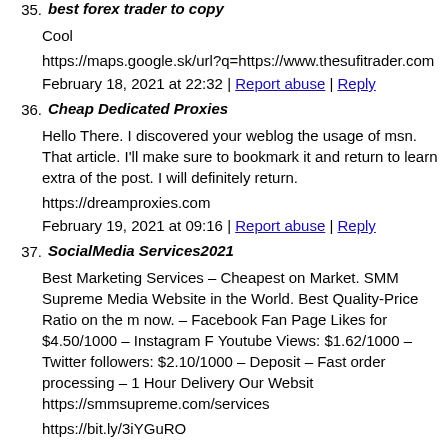35. best forex trader to copy
Cool
https://maps.google.sk/url?q=https://www.thesufitrader.com
February 18, 2021 at 22:32 | Report abuse | Reply
36. Cheap Dedicated Proxies
Hello There. I discovered your weblog the usage of msn. That article. I'll make sure to bookmark it and return to learn extra of the post. I will definitely return.
https://dreamproxies.com
February 19, 2021 at 09:16 | Report abuse | Reply
37. SocialMedia Services2021
Best Marketing Services – Cheapest on Market. SMM Supreme Media Website in the World. Best Quality-Price Ratio on the market now. – Facebook Fan Page Likes for $4.50/1000 – Instagram F Youtube Views: $1.62/1000 – Twitter followers: $2.10/1000 – Deposit – Fast order processing – 1 Hour Delivery Our Website https://smmsupreme.com/services
https://bit.ly/3iYGuRO